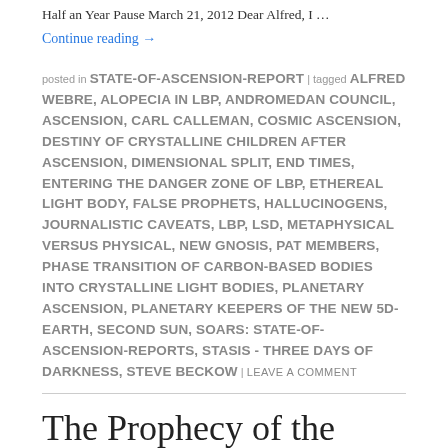Half an Year Pause March 21, 2012 Dear Alfred, I …
Continue reading →
posted in STATE-OF-ASCENSION-REPORT | tagged ALFRED WEBRE, ALOPECIA IN LBP, ANDROMEDAN COUNCIL, ASCENSION, CARL CALLEMAN, COSMIC ASCENSION, DESTINY OF CRYSTALLINE CHILDREN AFTER ASCENSION, DIMENSIONAL SPLIT, END TIMES, ENTERING THE DANGER ZONE OF LBP, ETHEREAL LIGHT BODY, FALSE PROPHETS, HALLUCINOGENS, JOURNALISTIC CAVEATS, LBP, LSD, METAPHYSICAL VERSUS PHYSICAL, NEW GNOSIS, PAT MEMBERS, PHASE TRANSITION OF CARBON-BASED BODIES INTO CRYSTALLINE LIGHT BODIES, PLANETARY ASCENSION, PLANETARY KEEPERS OF THE NEW 5D-EARTH, SECOND SUN, SOARS: STATE-OF-ASCENSION-REPORTS, STASIS - THREE DAYS OF DARKNESS, STEVE BECKOW | LEAVE A COMMENT
The Prophecy of the Two Arcturian Polar Bears. A